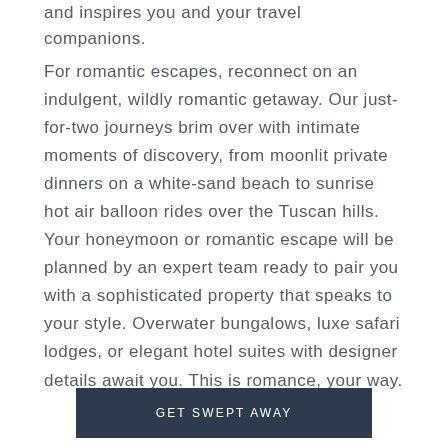and inspires you and your travel companions.
For romantic escapes, reconnect on an indulgent, wildly romantic getaway. Our just-for-two journeys brim over with intimate moments of discovery, from moonlit private dinners on a white-sand beach to sunrise hot air balloon rides over the Tuscan hills. Your honeymoon or romantic escape will be planned by an expert team ready to pair you with a sophisticated property that speaks to your style. Overwater bungalows, luxe safari lodges, or elegant hotel suites with designer details await you. This is romance, your way.
GET SWEPT AWAY